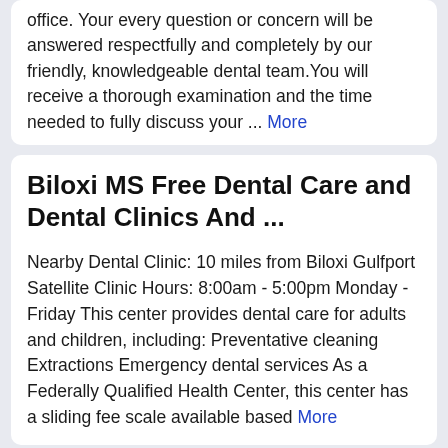office. Your every question or concern will be answered respectfully and completely by our friendly, knowledgeable dental team. You will receive a thorough examination and the time needed to fully discuss your ... More
Biloxi MS Free Dental Care and Dental Clinics And ...
Nearby Dental Clinic: 10 miles from Biloxi Gulfport Satellite Clinic Hours: 8:00am - 5:00pm Monday - Friday This center provides dental care for adults and children, including: Preventative cleaning Extractions Emergency dental services As a Federally Qualified Health Center, this center has a sliding fee scale available based More